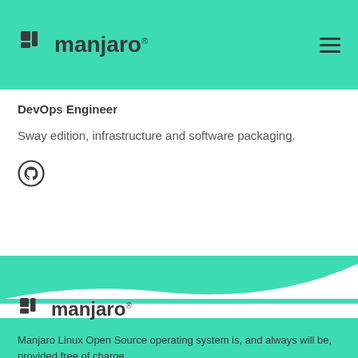[Figure (logo): Manjaro logo with icon and text, plus hamburger menu icon in teal header bar]
DevOps Engineer
Sway edition, infrastructure and software packaging.
[Figure (logo): GitHub Octocat icon (circular outline logo)]
[Figure (illustration): White-to-teal wave divider separating white content area from teal footer]
[Figure (logo): Manjaro logo (icon + text) in teal footer]
Manjaro Linux Open Source operating system is, and always will be, provided free of charge.